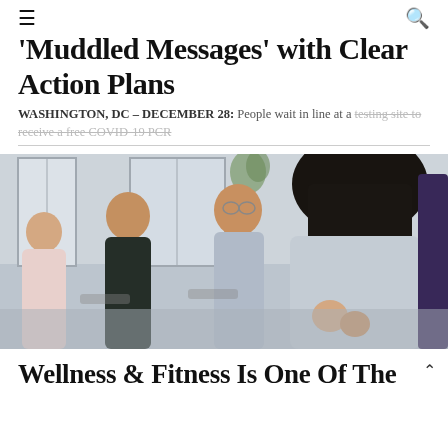≡  🔍
'Muddled Messages' with Clear Action Plans
WASHINGTON, DC – DECEMBER 28: People wait in line at a testing site to receive a free COVID-19 PCR
[Figure (photo): Group of women in a meeting or workshop setting; one woman with long dark hair seen from behind appears to be presenting or speaking to three other women seated and listening]
Wellness & Fitness Is One Of The